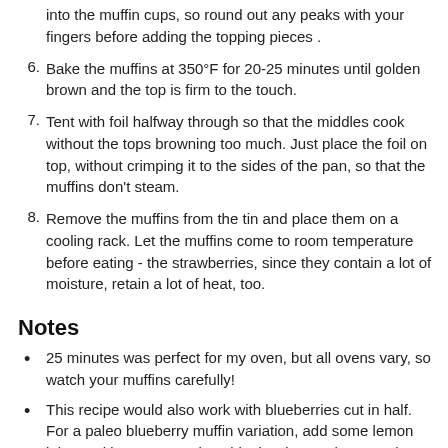into the muffin cups, so round out any peaks with your fingers before adding the topping pieces .
6. Bake the muffins at 350°F for 20-25 minutes until golden brown and the top is firm to the touch.
7. Tent with foil halfway through so that the middles cook without the tops browning too much. Just place the foil on top, without crimping it to the sides of the pan, so that the muffins don't steam.
8. Remove the muffins from the tin and place them on a cooling rack. Let the muffins come to room temperature before eating - the strawberries, since they contain a lot of moisture, retain a lot of heat, too.
Notes
25 minutes was perfect for my oven, but all ovens vary, so watch your muffins carefully!
This recipe would also work with blueberries cut in half. For a paleo blueberry muffin variation, add some lemon juice and lemon zest, since blueberries are less tart than strawberries.
Important reminders: be prepared to place a sheet of aluminum foil over the muffins about halfway through baking